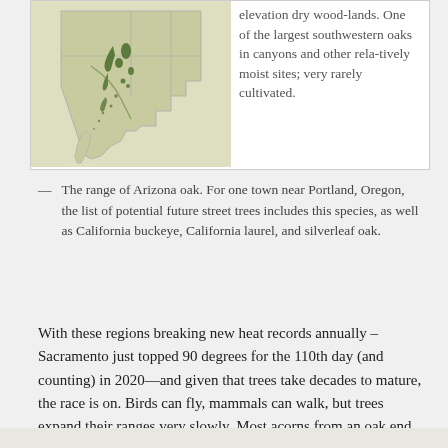[Figure (map): A map showing the range of Arizona oak across the southwestern United States and northwestern Mexico, with dark green markings indicating species distribution concentrated in Arizona and adjacent areas. Next to the map is descriptive text about elevation dry woodlands and southwestern oaks.]
— The range of Arizona oak. For one town near Portland, Oregon, the list of potential future street trees includes this species, as well as California buckeye, California laurel, and silverleaf oak.
With these regions breaking new heat records annually – Sacramento just topped 90 degrees for the 110th day (and counting) in 2020—and given that trees take decades to mature, the race is on. Birds can fly, mammals can walk, but trees expand their ranges very slowly. Most acorns from an oak end up within a few hundred yards from their home tree.